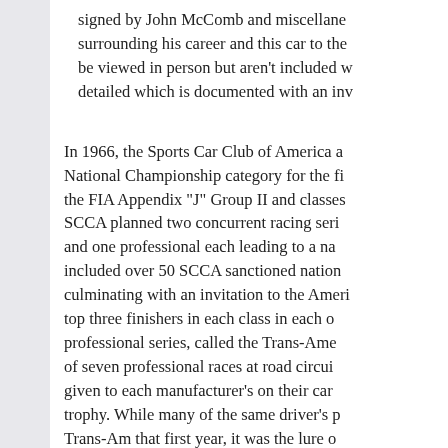signed by John McComb and miscellaneous items surrounding his career and this car to the be viewed in person but aren't included w detailed which is documented with an inv
In 1966, the Sports Car Club of America a National Championship category for the fi the FIA Appendix "J" Group II and classes SCCA planned two concurrent racing seri and one professional each leading to a na included over 50 SCCA sanctioned nation culminating with an invitation to the Ameri top three finishers in each class in each o professional series, called the Trans-Ame of seven professional races at road circui given to each manufacturer's on their car trophy. While many of the same driver's p Trans-Am that first year, it was the lure o interest. Instead of doing anything in-hou turned to Shelby American to develop the November 29th, 1965 a meeting was hel American competition director, Lew Spen American marketing director, George Me engineer. The subject was FIA Group I a would build them. It was decided that car Ford, on a DSO basis and sold by Shelby